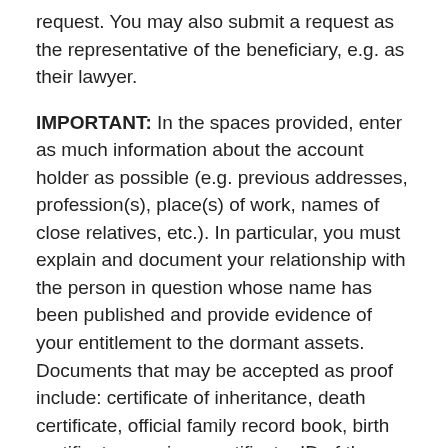request. You may also submit a request as the representative of the beneficiary, e.g. as their lawyer.
IMPORTANT: In the spaces provided, enter as much information about the account holder as possible (e.g. previous addresses, profession(s), place(s) of work, names of close relatives, etc.). In particular, you must explain and document your relationship with the person in question whose name has been published and provide evidence of your entitlement to the dormant assets. Documents that may be accepted as proof include: certificate of inheritance, death certificate, official family record book, birth certificate, marriage certificate, ID of the potential account holder, certificate of residency of the potential account holder, old account documents, etc. The following formats are supported: .pdf, .jpg, .png, .gif.